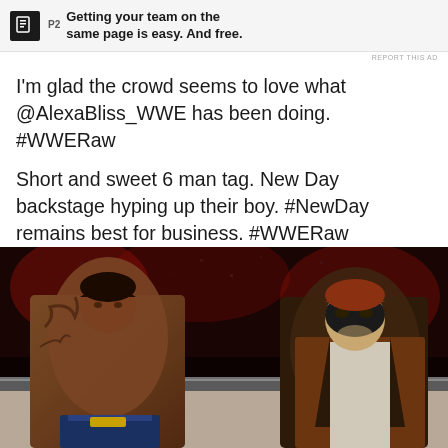[Figure (screenshot): Advertisement banner with a shield/book icon labeled P2 and text 'Getting your team on the same page is easy. And free.']
REPORT THIS AD
I'm glad the crowd seems to love what @AlexaBliss_WWE has been doing. #WWERaw
Short and sweet 6 man tag. New Day backstage hyping up their boy. #NewDay remains best for business. #WWERaw
[Figure (photo): Two WWE wrestlers facing each other in an arena ring. The wrestler on the left is shirtless with tattoos, the wrestler on the right wears a dark mask and brown jacket. The crowd is visible in the background with red lighting.]